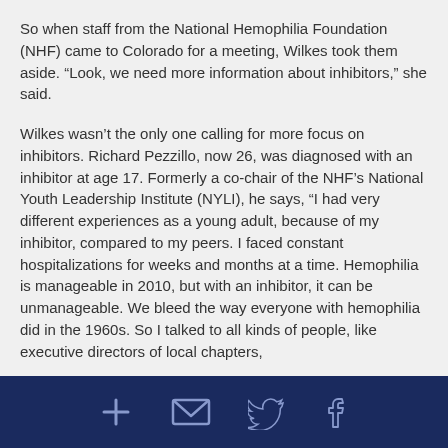So when staff from the National Hemophilia Foundation (NHF) came to Colorado for a meeting, Wilkes took them aside. “Look, we need more information about inhibitors,” she said.
Wilkes wasn’t the only one calling for more focus on inhibitors. Richard Pezzillo, now 26, was diagnosed with an inhibitor at age 17. Formerly a co-chair of the NHF’s National Youth Leadership Institute (NYLI), he says, “I had very different experiences as a young adult, because of my inhibitor, compared to my peers. I faced constant hospitalizations for weeks and months at a time. Hemophilia is manageable in 2010, but with an inhibitor, it can be unmanageable. We bleed the way everyone with hemophilia did in the 1960s. So I talked to all kinds of people, like executive directors of local chapters,
[Figure (infographic): Dark navy footer bar with four social/share icons: a plus/cross icon, an envelope/email icon, a Twitter bird icon, and a Facebook f icon, all rendered in muted blue-grey stroke style.]